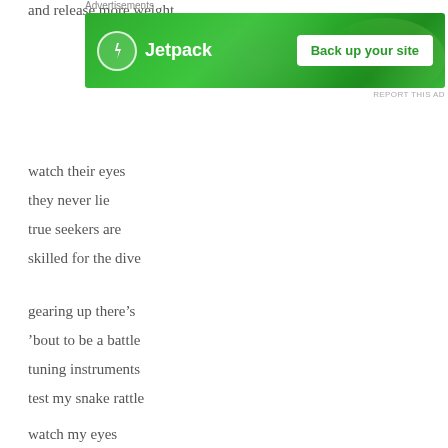and release more weight
[Figure (other): Jetpack advertisement banner with green background, Jetpack logo, and 'Back up your site' button]
watch their eyes
they never lie
true seekers are
skilled for the dive
gearing up there’s
’bout to be a battle
tuning instruments
test my snake rattle
watch my eyes
I refuse to lie